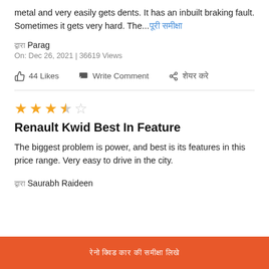metal and very easily gets dents. It has an inbuilt braking fault. Sometimes it gets very hard. The...पूरी समीक्षा
द्वारा Parag
On: Dec 26, 2021 | 36619 Views
44 Likes   Write Comment   शेयर करे
★★★☆☆
Renault Kwid Best In Feature
The biggest problem is power, and best is its features in this price range. Very easy to drive in the city.
द्वारा Saurabh Raideen
रेनो क्विड कार की समीक्षा लिखे